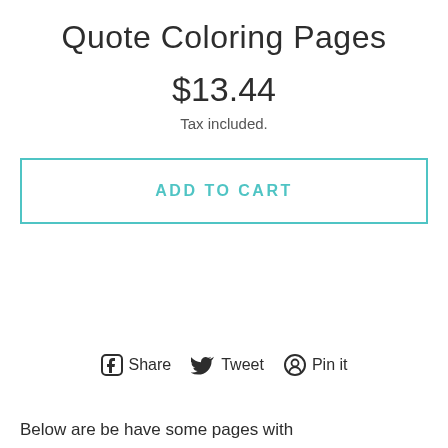Quote Coloring Pages
$13.44
Tax included.
ADD TO CART
Share   Tweet   Pin it
Below are be have some pages with